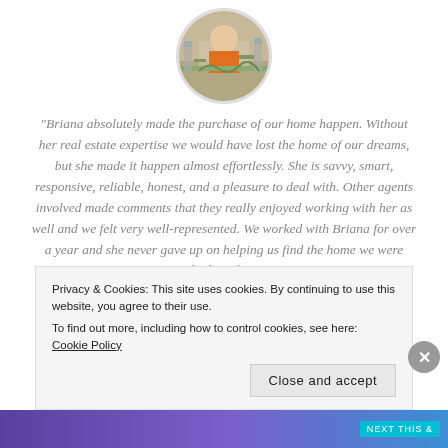[Figure (photo): Circular profile photo of a person standing in front of a house with plants/landscaping]
“Briana absolutely made the purchase of our home happen. Without her real estate expertise we would have lost the home of our dreams, but she made it happen almost effortlessly. She is savvy, smart, responsive, reliable, honest, and a pleasure to deal with. Other agents involved made comments that they really enjoyed working with her as well and we felt very well-represented. We worked with Briana for over a year and she never gave up on helping us find the home we were looking for.”
Privacy & Cookies: This site uses cookies. By continuing to use this website, you agree to their use.
To find out more, including how to control cookies, see here: Cookie Policy
Close and accept